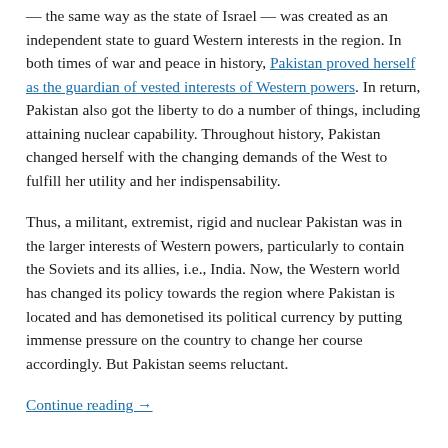— the same way as the state of Israel — was created as an independent state to guard Western interests in the region. In both times of war and peace in history, Pakistan proved herself as the guardian of vested interests of Western powers. In return, Pakistan also got the liberty to do a number of things, including attaining nuclear capability. Throughout history, Pakistan changed herself with the changing demands of the West to fulfill her utility and her indispensability.
Thus, a militant, extremist, rigid and nuclear Pakistan was in the larger interests of Western powers, particularly to contain the Soviets and its allies, i.e., India. Now, the Western world has changed its policy towards the region where Pakistan is located and has demonetised its political currency by putting immense pressure on the country to change her course accordingly. But Pakistan seems reluctant.
Continue reading →